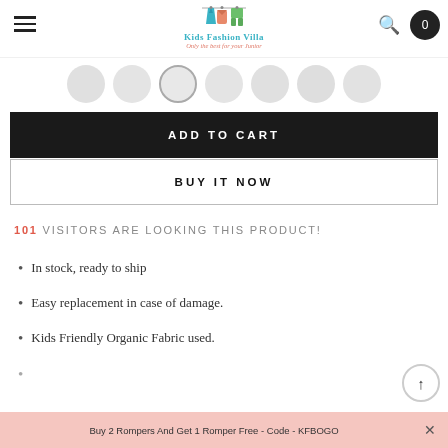Kids Fashion Villa — Only the best for your Junior
[Figure (screenshot): Product thumbnail images row showing multiple circular product photos]
ADD TO CART
BUY IT NOW
101 VISITORS ARE LOOKING THIS PRODUCT!
In stock, ready to ship
Easy replacement in case of damage.
Kids Friendly Organic Fabric used.
Buy 2 Rompers And Get 1 Romper Free - Code - KFBOGO